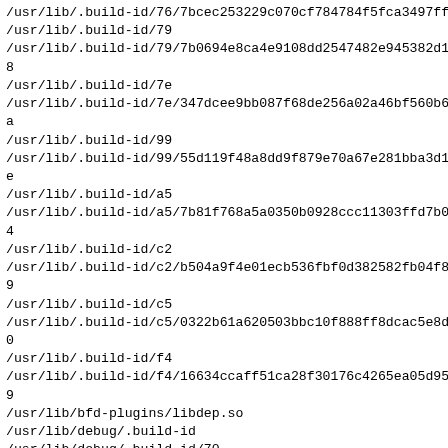/usr/lib/.build-id/76/7bcec253229c070cf784784f5fca3497ffe
/usr/lib/.build-id/79
/usr/lib/.build-id/79/7b0694e8ca4e9108dd2547482e945382d18
/usr/lib/.build-id/7e
/usr/lib/.build-id/7e/347dcee9bb087f68de256a02a46bf560b6a
/usr/lib/.build-id/99
/usr/lib/.build-id/99/55d119f48a8dd9f879e70a67e281bba3d1e
/usr/lib/.build-id/a5
/usr/lib/.build-id/a5/7b81f768a5a0350b0928ccc11303ffd7b04
/usr/lib/.build-id/c2
/usr/lib/.build-id/c2/b504a9f4e01ecb536fbf0d382582fb04f89
/usr/lib/.build-id/c5
/usr/lib/.build-id/c5/0322b61a620503bbc10f888ff8dcac5e8d0
/usr/lib/.build-id/f4
/usr/lib/.build-id/f4/16634ccaff51ca28f30176c4265ea05d959
/usr/lib/bfd-plugins/libdep.so
/usr/lib/debug/.build-id
/usr/lib/debug/.build-id/70
/usr/lib/debug/.build-id/70/f20a54fe2f38a362a70292a12e752
/usr/lib/debug/.build-id/70/f20a54fe2f38a362a70292a12e752
/usr/lib/libbfd-2.37-24.fc36.so
/usr/lib/libctf-nobfd.a
/usr/lib/libctf-nobfd.so
/usr/lib/libctf-nobfd.so.0
/usr/lib/libctf-nobfd.so.0.0.0
/usr/lib/libctf.a
/usr/lib/libctf.so
/usr/lib/libctf.so.0
/usr/lib/libctf.so.0.0.0
/usr/lib/libopcodes-2.37-24.fc36.so